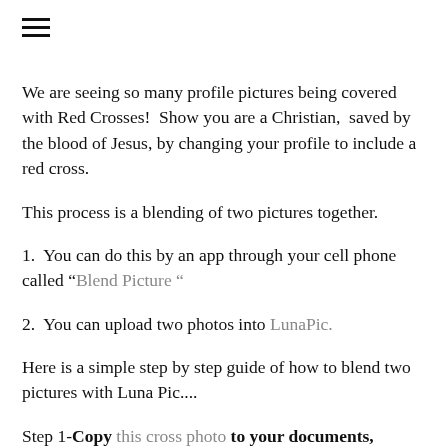[Figure (other): Hamburger menu icon (three horizontal lines)]
We are seeing so many profile pictures being covered with Red Crosses!  Show you are a Christian,  saved by the blood of Jesus, by changing your profile to include a red cross.
This process is a blending of two pictures together.
1.  You can do this by an app through your cell phone called “Blend Picture “
2.  You can upload two photos into LunaPic.
Here is a simple step by step guide of how to blend two pictures with Luna Pic....
Step 1-Copy this cross photo to your documents,